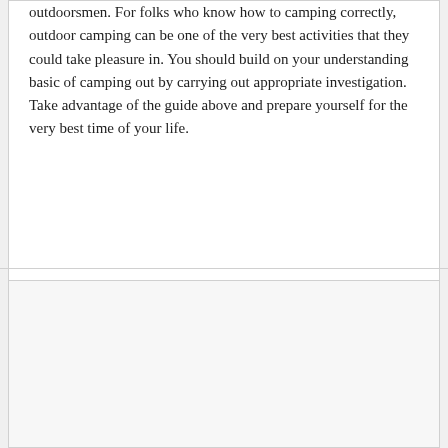outdoorsmen. For folks who know how to camping correctly, outdoor camping can be one of the very best activities that they could take pleasure in. You should build on your understanding basic of camping out by carrying out appropriate investigation. Take advantage of the guide above and prepare yourself for the very best time of your life.
Reply
Click This says
SEPTEMBER 19, 2020 AT 12:13 AM
Your article makes perfect sense. Writing that is worth reading, oh yeah btw also visit